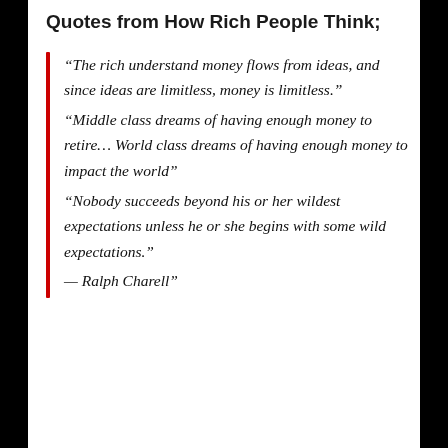Quotes from How Rich People Think;
“The rich understand money flows from ideas, and since ideas are limitless, money is limitless.” “Middle class dreams of having enough money to retire… World class dreams of having enough money to impact the world” “Nobody succeeds beyond his or her wildest expectations unless he or she begins with some wild expectations.” — Ralph Charell”